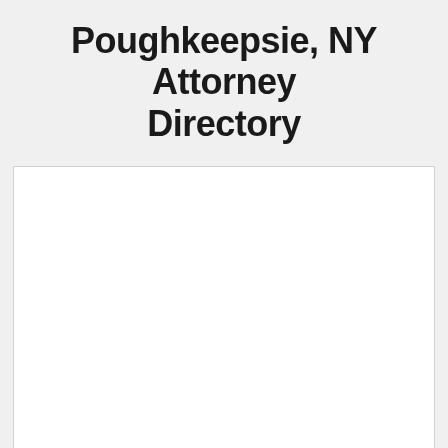Poughkeepsie, NY Attorney Directory
[Figure (other): White blank content area box below the title, representing the directory listing area with no visible content]